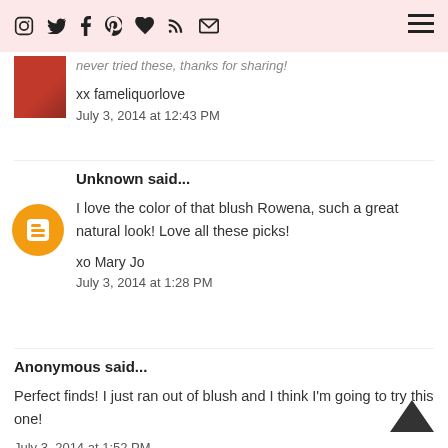Social media icons and navigation header
never tried these, thanks for sharing!
xx fameliquorlove
July 3, 2014 at 12:43 PM
Unknown said...
I love the color of that blush Rowena, such a great natural look! Love all these picks!

xo Mary Jo
July 3, 2014 at 1:28 PM
Anonymous said...
Perfect finds! I just ran out of blush and I think I'm going to try this one!
July 3, 2014 at 1:52 PM